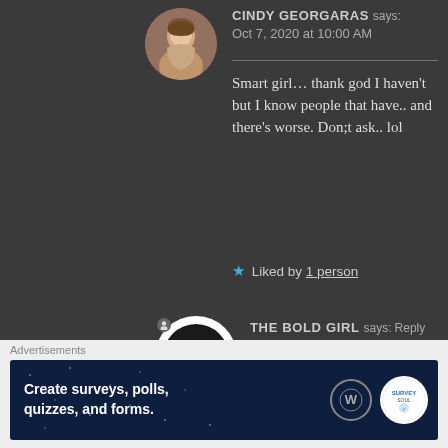CINDY GEORGARAS says: Oct 7, 2020 at 10:00 AM
Smart girl… thank god I haven't but I know people that have.. and there's worse. Don;t ask.. lol
★ Liked by 1 person
THE BOLD GIRL says: Reply Oct 7, 2020 at 11:33 AM
Hahaha… I will coz it's
Advertisements
Create surveys, polls, quizzes, and forms.